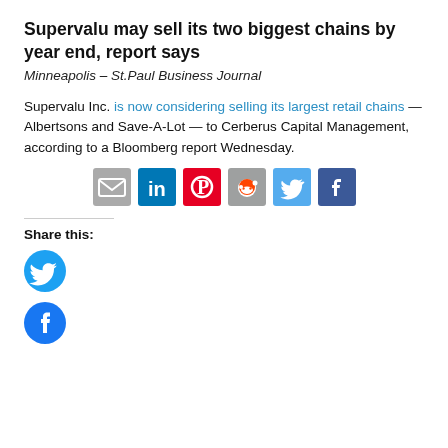Supervalu may sell its two biggest chains by year end, report says
Minneapolis – St.Paul Business Journal
Supervalu Inc. is now considering selling its largest retail chains — Albertsons and Save-A-Lot — to Cerberus Capital Management, according to a Bloomberg report Wednesday.
[Figure (infographic): Row of social sharing icon buttons: Email, LinkedIn, Pinterest, Reddit, Twitter, Facebook]
Share this:
[Figure (infographic): Twitter circular blue share button]
[Figure (infographic): Facebook circular blue share button]